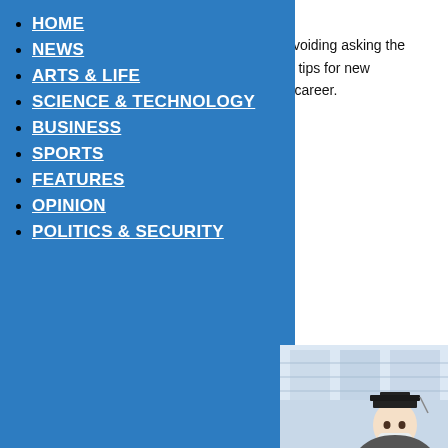written by Meilin Ma April 15, 2021
From freelancing use of the gig economy to avoiding asking the toughest questions, executives give their best tips for new graduates and anyone hoping to solidify their career.
HOME
NEWS
ARTS & LIFE
SCIENCE & TECHNOLOGY
BUSINESS
SPORTS
FEATURES
OPINION
POLITICS & SECURITY
[Figure (photo): Graduate student wearing cap and mask in front of building]